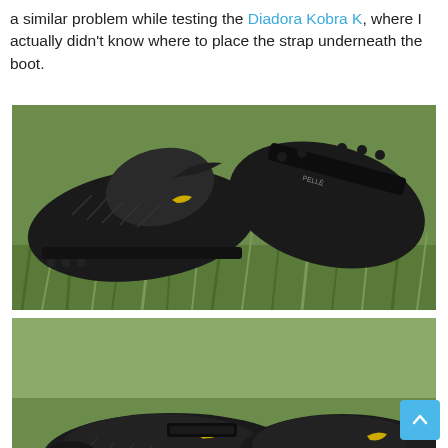a similar problem while testing the Diadora Kobra K, where I actually didn't know where to place the strap underneath the boot.
[Figure (photo): Black soccer/football cleats (boots) shown open/deconstructed on green grass, viewed from the side showing the sole and strap mechanism]
[Figure (photo): Black soccer/football cleats (boots) with velcro strap, shown on green grass from a side angle, with gold logo visible]